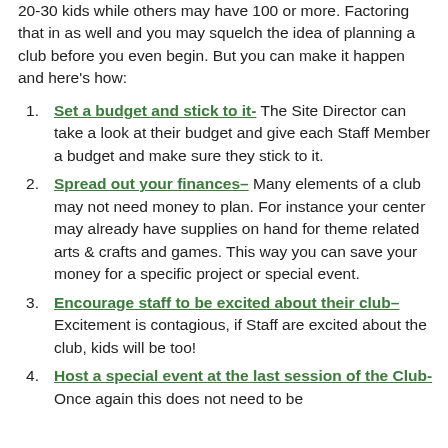20-30 kids while others may have 100 or more. Factoring that in as well and you may squelch the idea of planning a club before you even begin. But you can make it happen and here's how:
Set a budget and stick to it- The Site Director can take a look at their budget and give each Staff Member a budget and make sure they stick to it.
Spread out your finances– Many elements of a club may not need money to plan. For instance your center may already have supplies on hand for theme related arts & crafts and games. This way you can save your money for a specific project or special event.
Encourage staff to be excited about their club–Excitement is contagious, if Staff are excited about the club, kids will be too!
Host a special event at the last session of the Club- Once again this does not need to be